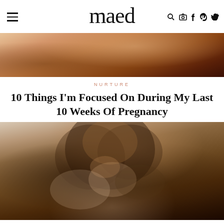maed
[Figure (photo): Partial photo of a pregnant woman lying down, warm orange/brown tones visible at top of page]
NURTURE
10 Things I'm Focused On During My Last 10 Weeks Of Pregnancy
[Figure (photo): Woman with curly hair and red lipstick in a pink outfit, lying down and looking thoughtful, photographed in a bedroom setting]